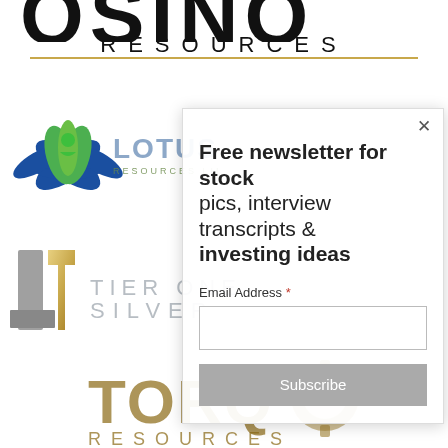[Figure (logo): OSINO Resources logo text at top, partially cropped, with gold divider line and RESOURCES lettering]
[Figure (logo): Lotus Resources Limited logo - blue and green lotus flower emblem with company name]
[Figure (logo): Tier One Silver logo - metallic silver and gold geometric mark with company name]
[Figure (logo): TORQ Resources logo - brown/bronze lettering with gear-like graphic element]
[Figure (screenshot): Newsletter subscription popup overlay with text: Free newsletter for stock pics, interview transcripts & investing ideas. Email Address field and Subscribe button.]